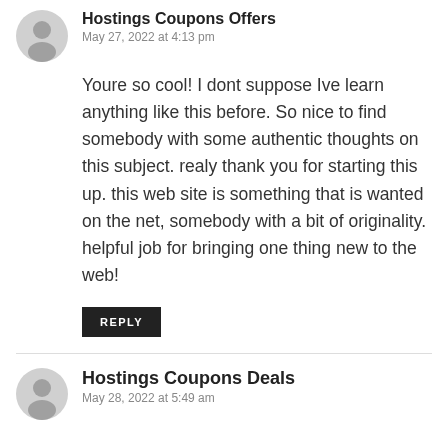Hostings Coupons Offers
May 27, 2022 at 4:13 pm
Youre so cool! I dont suppose Ive learn anything like this before. So nice to find somebody with some authentic thoughts on this subject. realy thank you for starting this up. this web site is something that is wanted on the net, somebody with a bit of originality. helpful job for bringing one thing new to the web!
REPLY
Hostings Coupons Deals
May 28, 2022 at 5:49 am